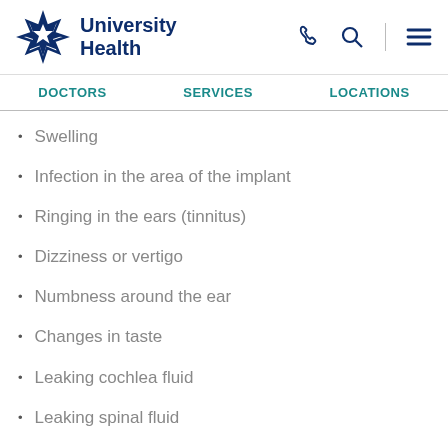[Figure (logo): University Health logo with star/diamond pattern icon and text]
DOCTORS   SERVICES   LOCATIONS
Swelling
Infection in the area of the implant
Ringing in the ears (tinnitus)
Dizziness or vertigo
Numbness around the ear
Changes in taste
Leaking cochlea fluid
Leaking spinal fluid
Injury to the facial nerve, which…